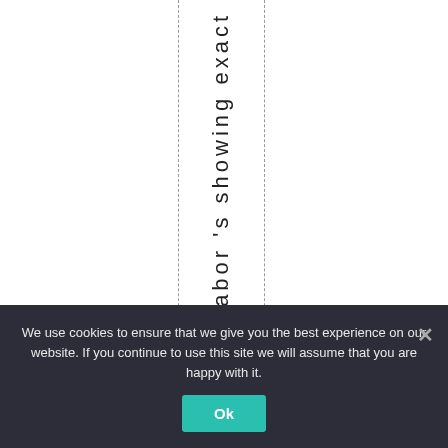[Figure (other): Vertical rotated text reading 'Labor 's showing exact' with dashed vertical lines on either side, representing a column header or label in rotated orientation within a table or document layout.]
We use cookies to ensure that we give you the best experience on our website. If you continue to use this site we will assume that you are happy with it.